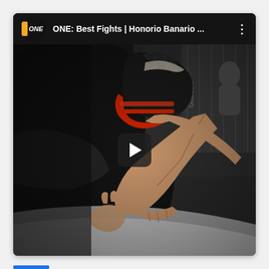[Figure (screenshot): YouTube-style video thumbnail card showing an MMA fight scene. Two fighters on the mat, one wearing black MMA gloves with red wrist wrapping, pressing against the cage wall. The thumbnail has a top bar with the ONE Championship logo (circular, dark background with 'ONE' in white italic text), video title 'ONE: Best Fights | Honorio Banario ...' in white text, and a vertical three-dots menu icon on the right. A play button (dark rounded rectangle with white triangle) is centered on the image. A small blue bar appears at the bottom left of the overall card.]